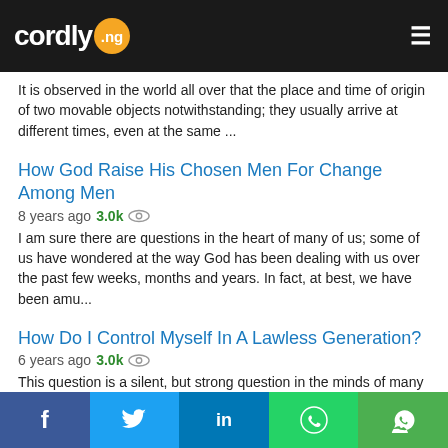cordly.ng
It is observed in the world all over that the place and time of origin of two movable objects notwithstanding; they usually arrive at different times, even at the same ...
How God Raise His Chosen Men For Change Among Men
8 years ago 3.0k
I am sure there are questions in the heart of many of us; some of us have wondered at the way God has been dealing with us over the past few weeks, months and years. In fact, at best, we have been amu...
How Do I Control Myself In A Lawless Generation?
6 years ago 3.0k
This question is a silent, but strong question in the minds of many people in the world today. Many things appear to be out of control, calling out the desire for more control in the hearts of many...
God's Idea About Ministry: How To Discover & Fulfill Yours
7 years ago 2.9k
Facebook Twitter LinkedIn WhatsApp Share